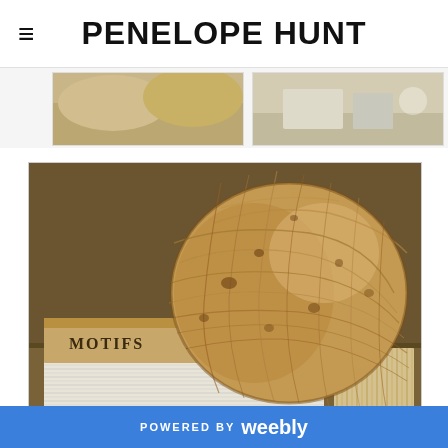PENELOPE HUNT
[Figure (photo): Partial view of two photos at top: left shows cushions/pillows in tan/beige tones, right shows a desk scene with glass items]
[Figure (photo): Large main photo of a ball of natural jute twine/yarn resting on top of stacked old books labeled MOTIFS and TUDOR, with wooden sticks/needles visible in background, all on a wooden shelf with warm brown tones]
Motifs 2014 John Doe and more text 40 38
POWERED BY weebly